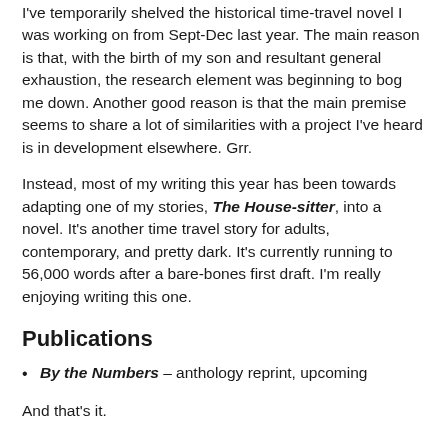I've temporarily shelved the historical time-travel novel I was working on from Sept-Dec last year. The main reason is that, with the birth of my son and resultant general exhaustion, the research element was beginning to bog me down. Another good reason is that the main premise seems to share a lot of similarities with a project I've heard is in development elsewhere. Grr.
Instead, most of my writing this year has been towards adapting one of my stories, The House-sitter, into a novel. It's another time travel story for adults, contemporary, and pretty dark. It's currently running to 56,000 words after a bare-bones first draft. I'm really enjoying writing this one.
Publications
By the Numbers – anthology reprint, upcoming
And that's it.